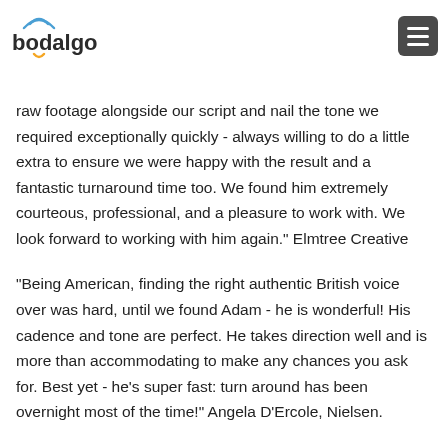bodalgo
raw footage alongside our script and nail the tone we required exceptionally quickly - always willing to do a little extra to ensure we were happy with the result and a fantastic turnaround time too. We found him extremely courteous, professional, and a pleasure to work with. We look forward to working with him again." Elmtree Creative
"Being American, finding the right authentic British voice over was hard, until we found Adam - he is wonderful! His cadence and tone are perfect. He takes direction well and is more than accommodating to make any chances you ask for. Best yet - he's super fast: turn around has been overnight most of the time!" Angela D'Ercole, Nielsen.
"Adam is always professional, trust worthy and willing to go the extra mile. Really great voice over artist." Wendy, KASH.